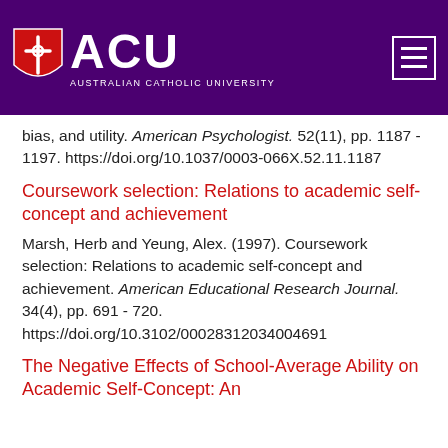[Figure (logo): ACU (Australian Catholic University) logo on purple header background with hamburger menu icon]
bias, and utility. American Psychologist. 52(11), pp. 1187 - 1197. https://doi.org/10.1037/0003-066X.52.11.1187
Coursework selection: Relations to academic self-concept and achievement
Marsh, Herb and Yeung, Alex. (1997). Coursework selection: Relations to academic self-concept and achievement. American Educational Research Journal. 34(4), pp. 691 - 720. https://doi.org/10.3102/00028312034004691
The Negative Effects of School-Average Ability on Academic Self-Concept: An